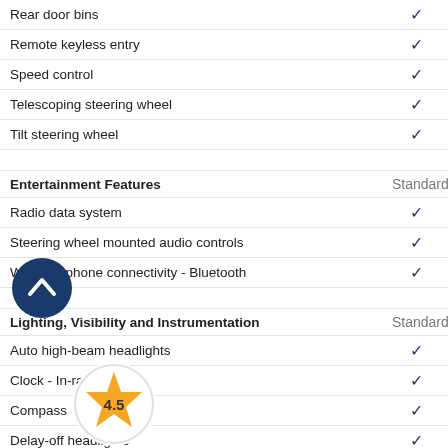| Feature | Standard |
| --- | --- |
| Rear door bins | ✓ |
| Remote keyless entry | ✓ |
| Speed control | ✓ |
| Telescoping steering wheel | ✓ |
| Tilt steering wheel | ✓ |
| Entertainment Features | Standard |
| Radio data system | ✓ |
| Steering wheel mounted audio controls | ✓ |
| Wireless phone connectivity - Bluetooth | ✓ |
| Lighting, Visibility and Instrumentation | Standard |
| Auto high-beam headlights | ✓ |
| Clock - In-radio display | ✓ |
| Compass | ✓ |
| Delay-off headlights | ✓ |
| Exterior temp - External temperature display | ✓ |
| Forward collision - Front Collision Warning w/Active Braking mitigation | ✓ |
| Front fog lights | ✓ |